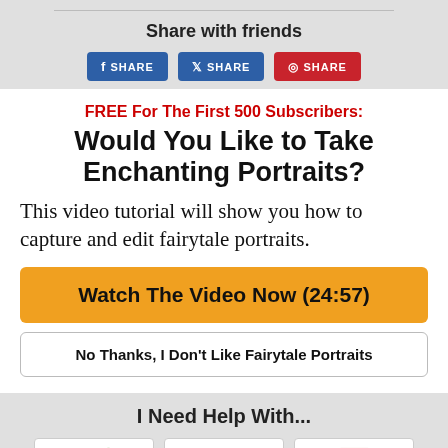Share with friends
[Figure (screenshot): Three social share buttons: Facebook SHARE, Twitter SHARE, Pinterest SHARE]
FREE For The First 500 Subscribers:
Would You Like to Take Enchanting Portraits?
This video tutorial will show you how to capture and edit fairytale portraits.
Watch The Video Now (24:57)
No Thanks, I Don't Like Fairytale Portraits
I Need Help With...
[Figure (screenshot): Three card thumbnails with icons at the bottom of the page]